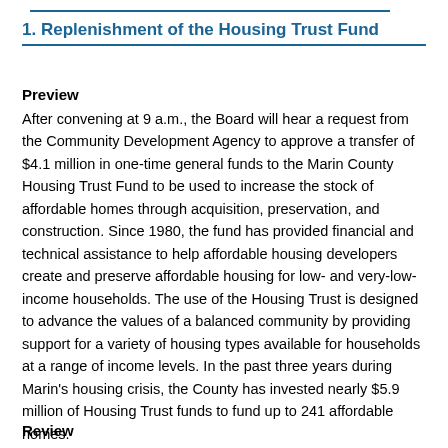1. Replenishment of the Housing Trust Fund
Preview
After convening at 9 a.m., the Board will hear a request from the Community Development Agency to approve a transfer of $4.1 million in one-time general funds to the Marin County Housing Trust Fund to be used to increase the stock of affordable homes through acquisition, preservation, and construction. Since 1980, the fund has provided financial and technical assistance to help affordable housing developers create and preserve affordable housing for low- and very-low-income households. The use of the Housing Trust is designed to advance the values of a balanced community by providing support for a variety of housing types available for households at a range of income levels. In the past three years during Marin's housing crisis, the County has invested nearly $5.9 million of Housing Trust funds to fund up to 241 affordable homes.
Review